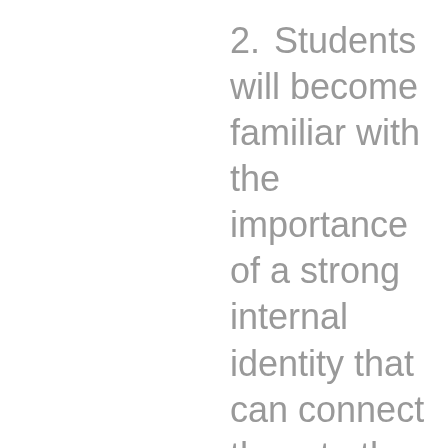2. Students will become familiar with the importance of a strong internal identity that can connect them to the world